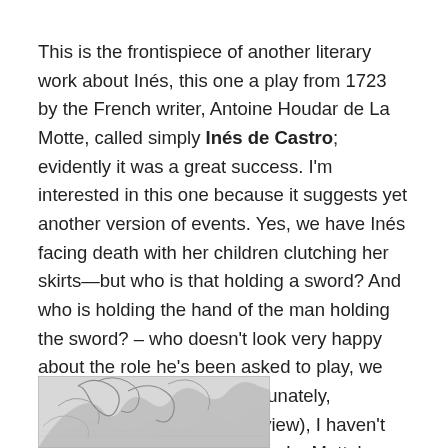This is the frontispiece of another literary work about Inés, this one a play from 1723 by the French writer, Antoine Houdar de La Motte, called simply Inés de Castro; evidently it was a great success. I'm interested in this one because it suggests yet another version of events. Yes, we have Inés facing death with her children clutching her skirts—but who is that holding a sword? And who is holding the hand of the man holding the sword? – who doesn't look very happy about the role he's been asked to play, we notice. Unfortunately (or fortunately, depending on your point of view), I haven't been able to find a copy of de La Motte's play, let alone a translation, so we may never know for sure.
[Figure (illustration): Partial view of a sketch/illustration — appears to be the frontispiece engraving referenced in the text, showing figures including Inés de Castro]